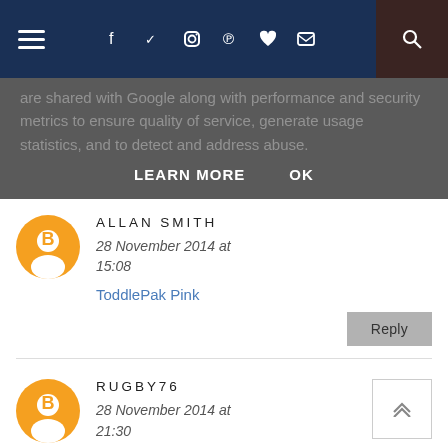Navigation bar with hamburger menu, social icons (f, Twitter, Instagram, Pinterest, heart, mail), and search
are shared with Google along with performance and security metrics to ensure quality of service, generate usage statistics, and to detect and address abuse.
LEARN MORE   OK
ALLAN SMITH
28 November 2014 at 15:08
ToddlePak Pink
RUGBY76
28 November 2014 at 21:30